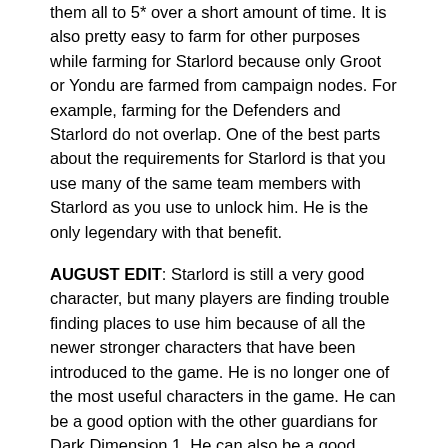them all to 5* over a short amount of time. It is also pretty easy to farm for other purposes while farming for Starlord because only Groot or Yondu are farmed from campaign nodes. For example, farming for the Defenders and Starlord do not overlap. One of the best parts about the requirements for Starlord is that you use many of the same team members with Starlord as you use to unlock him. He is the only legendary with that benefit.
AUGUST EDIT: Starlord is still a very good character, but many players are finding trouble finding places to use him because of all the newer stronger characters that have been introduced to the game. He is no longer one of the most useful characters in the game. He can be a good option with the other guardians for Dark Dimension 1. He can also be a good option with Minnerva for Dark Dimension 2, but he is not "essential" like he used to be.
Section 7 - Nick Fury
[Figure (photo): Dark background image with a partial view of a character's head at the bottom]